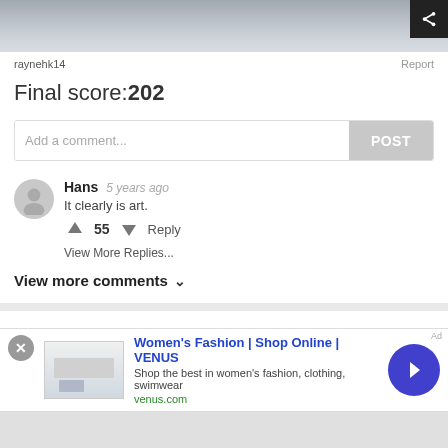[Figure (photo): Top banner image showing a dark metallic/architectural background with a share button in the upper right corner]
raynehk14
Report
Final score:202
Add a comment...
POST
Hans  5 years ago
It clearly is art.
↑ 55 ↓  Reply
View More Replies...
View more comments ∨
#2 In Case Of Fire
Women's Fashion | Shop Online | VENUS
Shop the best in women's fashion, clothing, swimwear
venus.com